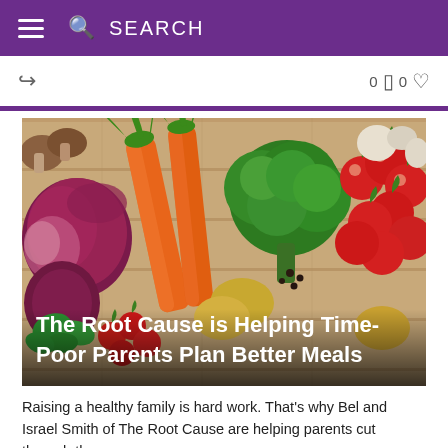SEARCH
[Figure (photo): Colorful assortment of vegetables including red onions, carrots, broccoli, cherry tomatoes, potatoes, basil, mushrooms, and garlic on a wooden surface]
The Root Cause is Helping Time-Poor Parents Plan Better Meals
Raising a healthy family is hard work. That's why Bel and Israel Smith of The Root Cause are helping parents cut through the